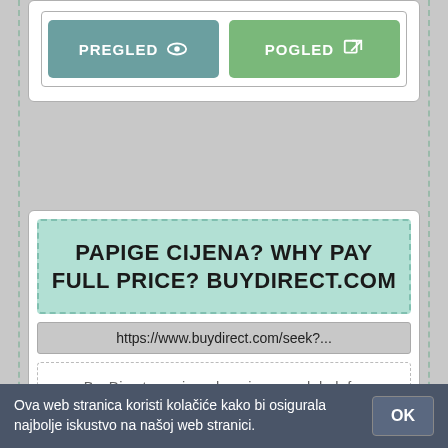[Figure (screenshot): Two buttons: PREGLED with eye icon and POGLED with external link icon, on a card UI]
[Figure (screenshot): Ad card for BuyDirect.com with headline, URL, and description]
PAPIGE CIJENA? WHY PAY FULL PRICE? BUYDIRECT.COM
https://www.buydirect.com/seek?...
BuyDirect.com is a shopping search hub for retailers, businesses or smart consumers.
ONLINE
Ova web stranica koristi kolačiće kako bi osigurala najbolje iskustvo na našoj web stranici.